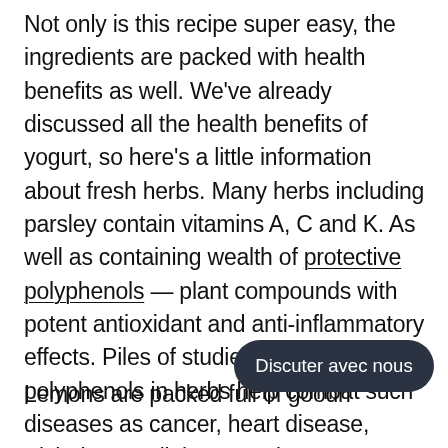Not only is this recipe super easy, the ingredients are packed with health benefits as well. We've already discussed all the health benefits of yogurt, so here's a little information about fresh herbs. Many herbs including parsley contain vitamins A, C and K. As well as containing wealth of protective polyphenols — plant compounds with potent antioxidant and anti-inflammatory effects. Piles of studies show that polyphenols in herbs help combat such diseases as cancer, heart disease, Alzheimer's, diabetes and more. Polyphenols are anti-microbial, so they can help protect us from harmful bacteria as well.
Lemons are packed full of goodness. Many of the benefits of lemons are due to its many nourishing elements like vitamin C, vitamin B6, vitamin A,